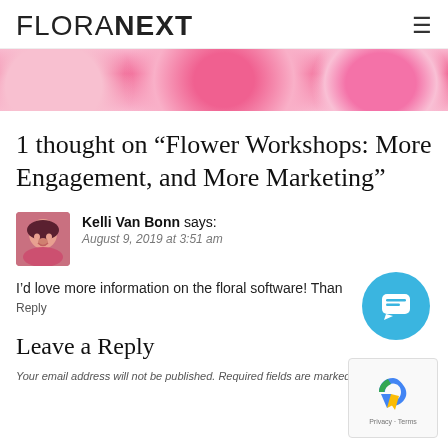FLORANEXT
[Figure (photo): Pink roses/flowers banner image]
1 thought on “Flower Workshops: More Engagement, and More Marketing”
Kelli Van Bonn says: August 9, 2019 at 3:51 am
I’d love more information on the floral software! Thank
Reply
Leave a Reply
Your email address will not be published. Required fields are marked *